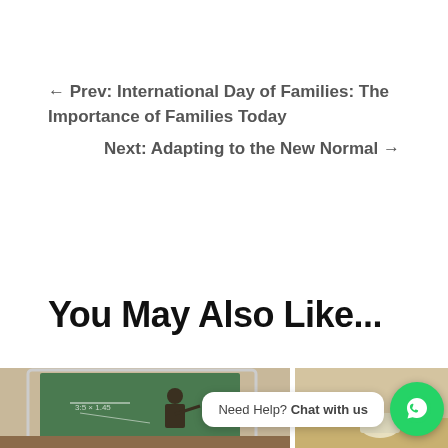← Prev: International Day of Families: The Importance of Families Today
Next: Adapting to the New Normal →
You May Also Like...
[Figure (photo): Photo strip showing a teacher writing on a chalkboard viewed on a tablet, and another image partially visible on the right]
[Figure (screenshot): WhatsApp chat widget with text 'Need Help? Chat with us' and green WhatsApp icon]